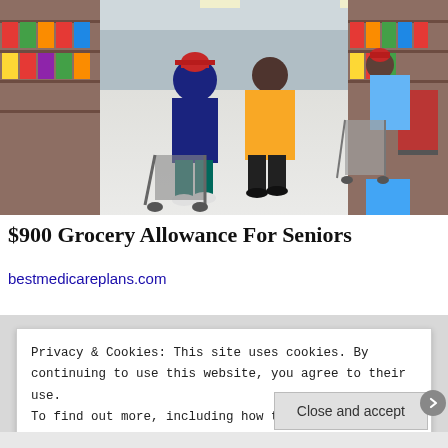[Figure (photo): Grocery store aisle with shoppers pushing carts, shelves visible on sides, bright store lighting]
$900 Grocery Allowance For Seniors
bestmedicareplans.com
Privacy & Cookies: This site uses cookies. By continuing to use this website, you agree to their use.
To find out more, including how to control cookies, see here: Cookie Policy
Close and accept